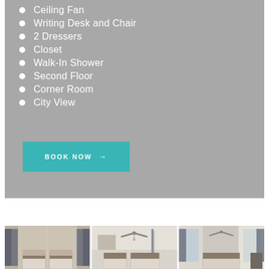Ceiling Fan
Writing Desk and Chair
2 Dressers
Closet
Walk-In Shower
Second Floor
Corner Room
City View
BOOK NOW →
[Figure (photo): Three hotel room interior photos showing bedroom with beds, ceiling fan, and windows with curtains]